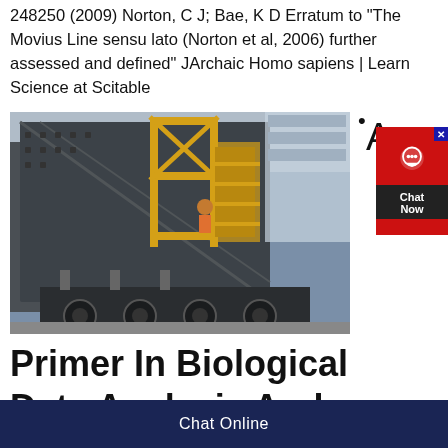248250 (2009) Norton, C J; Bae, K D Erratum to "The Movius Line sensu lato (Norton et al, 2006) further assessed and defined" JArchaic Homo sapiens | Learn Science at Scitable
[Figure (photo): Industrial machine, appears to be a large screening or crushing machine mounted on a trailer/truck, shown inside an industrial facility. Yellow frame structure visible.]
Primer In Biological Data Analysis And
Chat Online